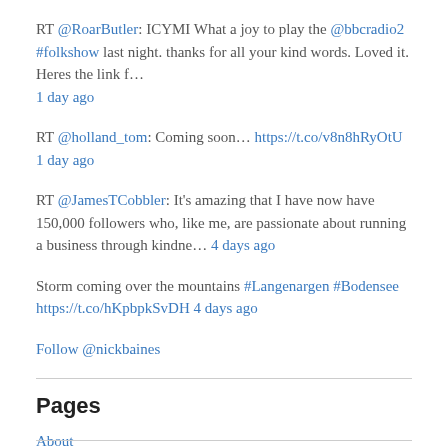RT @RoarButler: ICYMI What a joy to play the @bbcradio2 #folkshow last night. thanks for all your kind words. Loved it. Heres the link f… 1 day ago
RT @holland_tom: Coming soon… https://t.co/v8n8hRyOtU 1 day ago
RT @JamesTCobbler: It's amazing that I have now have 150,000 followers who, like me, are passionate about running a business through kindne… 4 days ago
Storm coming over the mountains #Langenargen #Bodensee https://t.co/hKpbpkSvDH 4 days ago
Follow @nickbaines
Pages
About